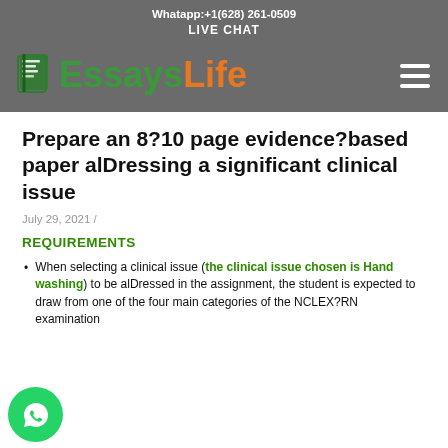Whatapp:+1(628) 261-0509
LIVE CHAT
[Figure (logo): EssaysLife logo with notebook icon, 'Essays' in green and 'Life' in orange, on dark grey background, with hamburger menu icon on right]
Prepare an 8?10 page evidence?based paper alDressing a significant clinical issue
July 29, 2021 /
REQUIREMENTS
When selecting a clinical issue (the clinical issue chosen is Hand washing) to be alDressed in the assignment, the student is expected to draw from one of the four main categories of the NCLEX?RN examination